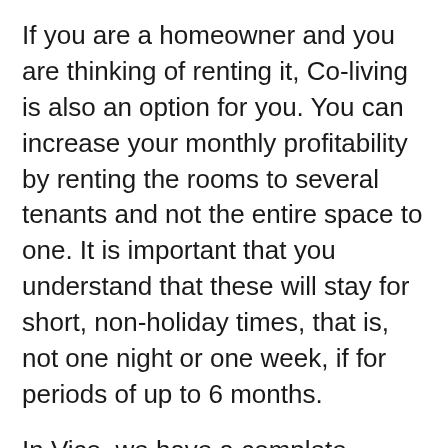If you are a homeowner and you are thinking of renting it, Co-living is also an option for you. You can increase your monthly profitability by renting the rooms to several tenants and not the entire space to one. It is important that you understand that these will stay for short, non-holiday times, that is, not one night or one week, if for periods of up to 6 months.
In Vico, we have a complete process for the accompaniment and advice of the owners to take them through a successful process to be housing managers and in this way